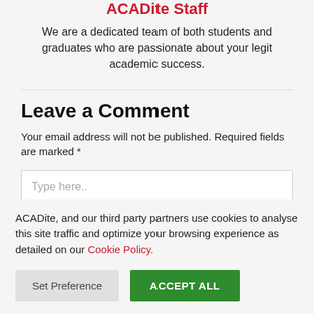ACADite Staff
We are a dedicated team of both students and graduates who are passionate about your legit academic success.
Leave a Comment
Your email address will not be published. Required fields are marked *
Type here..
ACADite, and our third party partners use cookies to analyse this site traffic and optimize your browsing experience as detailed on our Cookie Policy.
Set Preference
ACCEPT ALL